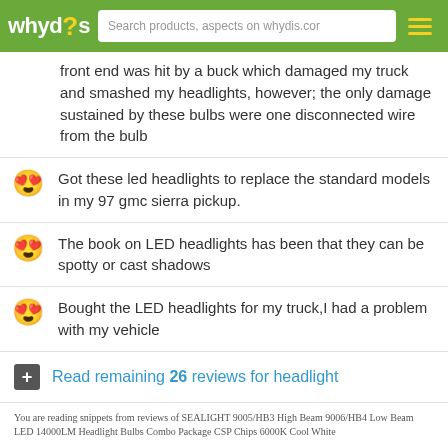whydis - Search products, aspects on whydis.com
front end was hit by a buck which damaged my truck and smashed my headlights, however; the only damage sustained by these bulbs were one disconnected wire from the bulb
Got these led headlights to replace the standard models in my 97 gmc sierra pickup.
The book on LED headlights has been that they can be spotty or cast shadows
Bought the LED headlights for my truck,I had a problem with my vehicle
Read remaining 26 reviews for headlight
You are reading snippets from reviews of SEALIGHT 9005/HB3 High Beam 9006/HB4 Low Beam LED 14000LM Headlight Bulbs Combo Package CSP Chips 6000K Cool White